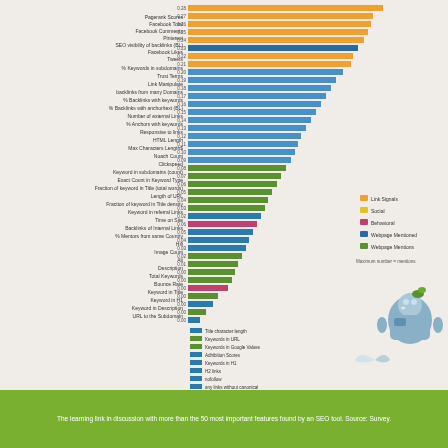[Figure (bar-chart): Horizontal bar chart showing feature importances for various SEO/web features, colored by category: Link Signals (orange), Social (yellow), Behavioral (blue), Webpage Mentioned (dark blue), Webpage Mentions (teal/blue). A robot illustration appears in the bottom right. A secondary legend at bottom left lists additional lower-importance features.]
The learning link in discussion with more than the 50 most important features found by an SEO tool. Source: Survey.